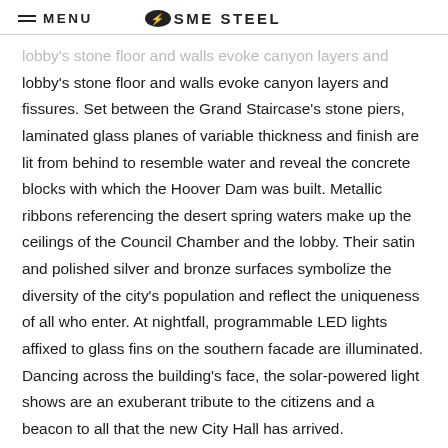MENU   SME STEEL
lobby's stone floor and walls evoke canyon layers and fissures. Set between the Grand Staircase's stone piers, laminated glass planes of variable thickness and finish are lit from behind to resemble water and reveal the concrete blocks with which the Hoover Dam was built. Metallic ribbons referencing the desert spring waters make up the ceilings of the Council Chamber and the lobby. Their satin and polished silver and bronze surfaces symbolize the diversity of the city's population and reflect the uniqueness of all who enter. At nightfall, programmable LED lights affixed to glass fins on the southern facade are illuminated. Dancing across the building's face, the solar-powered light shows are an exuberant tribute to the citizens and a beacon to all that the new City Hall has arrived.